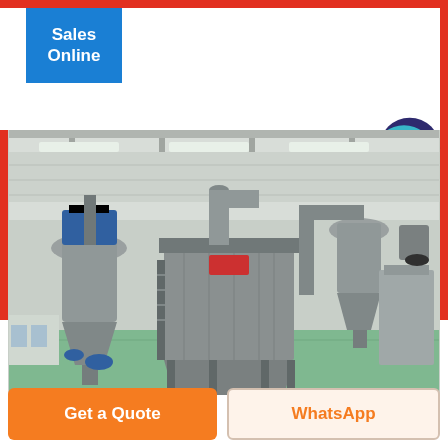Sales Online
[Figure (photo): Industrial grinding/milling machinery inside a large warehouse facility, showing cyclone separators, dust collectors, conveyors and processing equipment on a green epoxy floor.]
LIVE CHAT
Get a Quote
WhatsApp